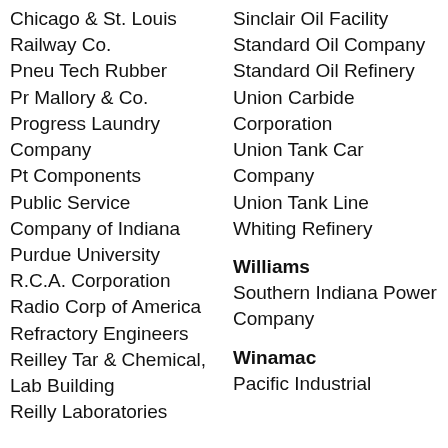Chicago & St. Louis Railway Co.
Pneu Tech Rubber
Pr Mallory & Co.
Progress Laundry Company
Pt Components
Public Service Company of Indiana
Purdue University
R.C.A. Corporation
Radio Corp of America
Refractory Engineers
Reilley Tar & Chemical, Lab Building
Reilly Laboratories
Sinclair Oil Facility
Standard Oil Company
Standard Oil Refinery
Union Carbide Corporation
Union Tank Car Company
Union Tank Line
Whiting Refinery
Williams
Southern Indiana Power Company
Winamac
Pacific Industrial